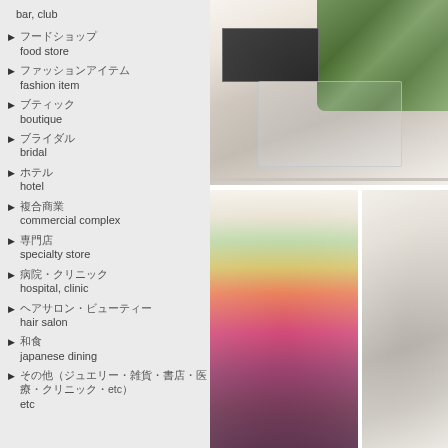bar, club
□□□□□□□
food store
□□□□□□□□□□□□
fashion item
□□□□□
boutique
□□□□□□□
bridal
□□□□□□
hotel
□□□□
commercial complex
□□□□□
specialty store
□□□□□□□□
hospital, clinic
□□□□□□□□□□□□□□□□□
hair salon
□□□
japanese dining
□□□□□□□□□□□□□□□□□□□□□□□□□□□□□□□
etc
[Figure (photo): Interior of a modern room with transparent/acrylic chairs around a table, a dark wall-mounted screen, and a green plant wall on the right side]
[Figure (photo): Blurred colorful vertical shapes in red, yellow, pink tones]
[Figure (photo): Exterior or interior architectural view with building facade]